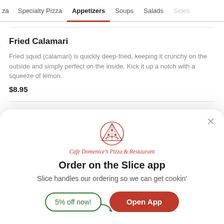za | Specialty Pizza | Appetizers | Soups | Salads | Sides
Fried Calamari
Fried squid (calamari) is quickly deep-fried, keeping it crunchy on the outside and simply perfect on the inside. Kick it up a notch with a squeeze of lemon.
$8.95
Hot Poppers
$6.95
[Figure (logo): Pizza slice illustration logo for Cafe Domenice's Pizza & Restaurant]
Cafe Domenice's Pizza & Restaurant
Order on the Slice app
Slice handles our ordering so we can get cookin'
5% off now!
Open App